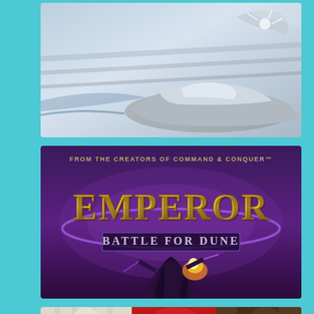[Figure (illustration): Game cover art showing a futuristic racing car in black and white/blue tones with a figure above it, dynamic action scene]
[Figure (illustration): Emperor: Battle for Dune game cover. Purple background with large stylized gold 'EMPEROR' logo and 'BATTLE FOR DUNE' subtitle. Text at top reads 'FROM THE CREATORS OF COMMAND & CONQUER'. Dark robed figure at bottom center with fire/explosion effects.]
[Figure (illustration): Partial game cover art visible at bottom, showing anime-style characters with red and brown tones, partially cropped]